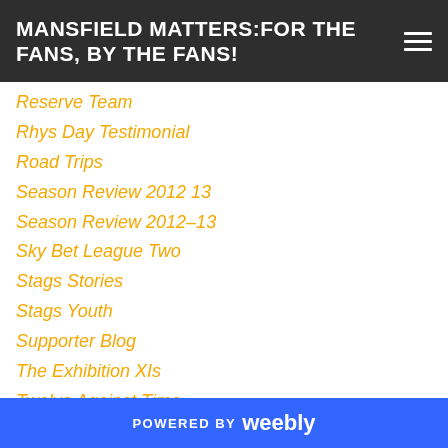MANSFIELD MATTERS:FOR THE FANS, BY THE FANS!
Reserve Team
Rhys Day Testimonial
Road Trips
Season Review 2012 13
Season Review 2012-13
Sky Bet League Two
Stags Stories
Stags Youth
Supporter Blog
The Exhibition XIs
Twelve Against Time
Under 21s
Wembley 2011
Where Are They Now
POWERED BY weebly